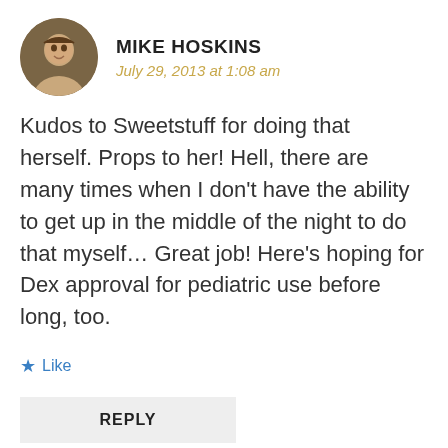[Figure (photo): Circular avatar photo of Mike Hoskins, a man smiling, with brown hair]
MIKE HOSKINS
July 29, 2013 at 1:08 am
Kudos to Sweetstuff for doing that herself. Props to her! Hell, there are many times when I don’t have the ability to get up in the middle of the night to do that myself… Great job! Here’s hoping for Dex approval for pediatric use before long, too.
★ Like
REPLY
[Figure (photo): Partial circular avatar photo at the bottom of the page]